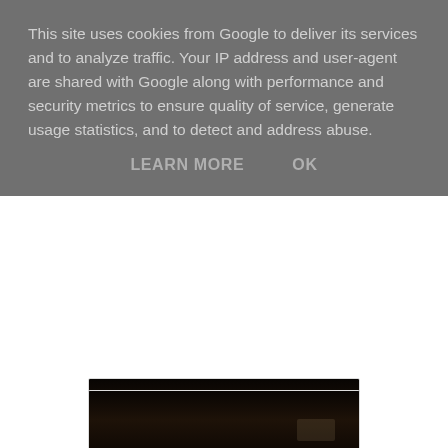This site uses cookies from Google to deliver its services and to analyze traffic. Your IP address and user-agent are shared with Google along with performance and security metrics to ensure quality of service, generate usage statistics, and to detect and address abuse.
LEARN MORE   OK
[Figure (photo): Partially visible dark restaurant interior photograph]
What We Ate: The CNY menu is divided into 4 courses – soup, dim sum, mains & accompaniments and dessert.
Course 1 - Soup of double-boiled fresh ginseng and chicken with bamboo pith and wolfberry
[Figure (photo): Photo of a white bowl of soup with a white ceramic spoon, dark background, showing the double-boiled ginseng and chicken soup]